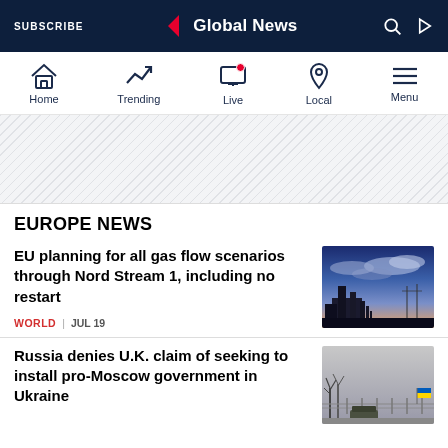SUBSCRIBE | Global News
[Figure (screenshot): Global News navigation bar with Home, Trending, Live, Local, Menu icons]
[Figure (other): Advertisement banner area with diagonal stripe pattern]
EUROPE NEWS
EU planning for all gas flow scenarios through Nord Stream 1, including no restart
WORLD | JUL 19
[Figure (photo): Industrial facility with pipelines silhouetted against a dramatic blue and purple twilight sky]
Russia denies U.K. claim of seeking to install pro-Moscow government in Ukraine
[Figure (photo): Military vehicles near a fence with Ukrainian flag visible in winter landscape]